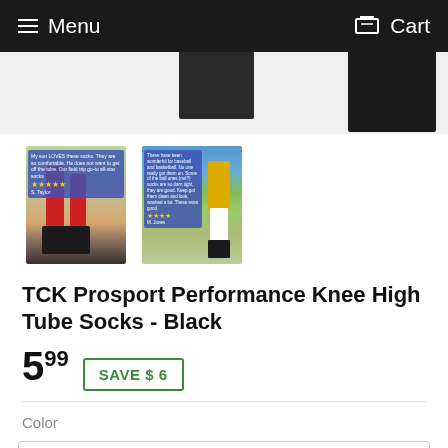Menu   Cart
[Figure (photo): Product images: top partial view of black socks, two thumbnail images showing red baseball socks on player and baseball player in yellow jersey with black knee-high socks]
TCK Prosport Performance Knee High Tube Socks - Black
5 99  SAVE $ 6
Color
Black